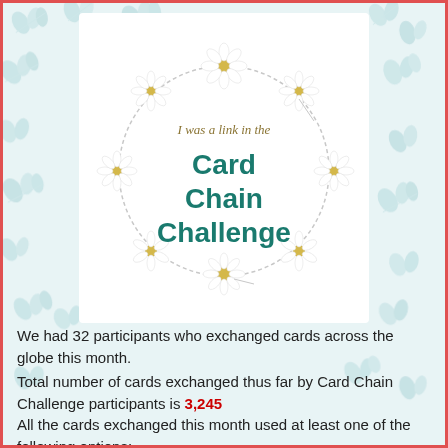[Figure (illustration): A circular floral wreath made of daisy flowers with text inside reading 'I was a link in the Card Chain Challenge' on a light blue botanical leaf pattern background]
We had 32 participants who exchanged cards across the globe this month.
Total number of cards exchanged thus far by Card Chain Challenge participants is 3,245
All the cards exchanged this month used at least one of the following options: